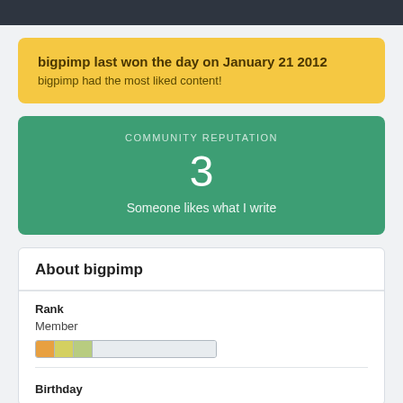bigpimp last won the day on January 21 2012
bigpimp had the most liked content!
COMMUNITY REPUTATION
3
Someone likes what I write
About bigpimp
Rank
Member
Birthday